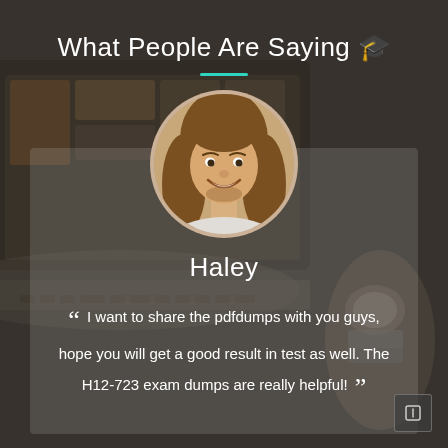What People Are Saying 🎓
[Figure (photo): Circular portrait photo of a smiling young man with long brown hair (Haley), centered on a semi-transparent card overlay on a blurred laptop background]
Haley
" I want to share the pdfdumps with you guys, hope you will get a good result in test as well. The H12-723 exam dumps are really helpful! "